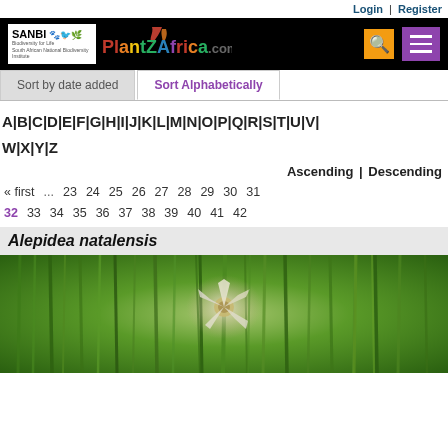Login | Register
[Figure (logo): SANBI and PlantZAfrica.com website header with search and menu buttons on black background]
Sort by date added | Sort Alphabetically
A|B|C|D|E|F|G|H|I|J|K|L|M|N|O|P|Q|R|S|T|U|V|W|X|Y|Z
Ascending | Descending
« first ... 23 24 25 26 27 28 29 30 31
32 33 34 35 36 37 38 39 40 41 42
Alepidea natalensis
[Figure (photo): Close-up photo of Alepidea natalensis flower with white star-shaped bloom surrounded by grass blades]